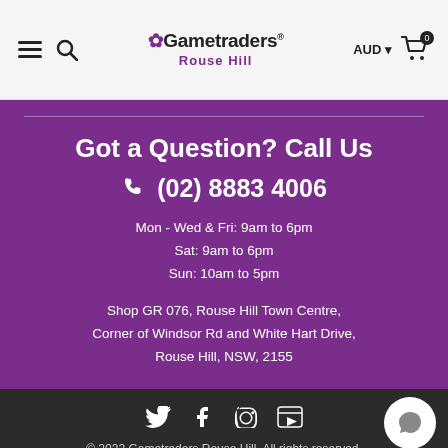Gametraders Rouse Hill — AUD — Cart 0
Got a Question? Call Us
(02) 8883 4006
Mon - Wed & Fri: 9am to 6pm
Sat: 9am to 6pm
Sun: 10am to 5pm
Shop GR 076, Rouse Hill Town Centre, Corner of Windsor Rd and White Hart Drive, Rouse Hill, NSW, 2155
© 2022 Gametraders Rouse Hill. All rights reserved.